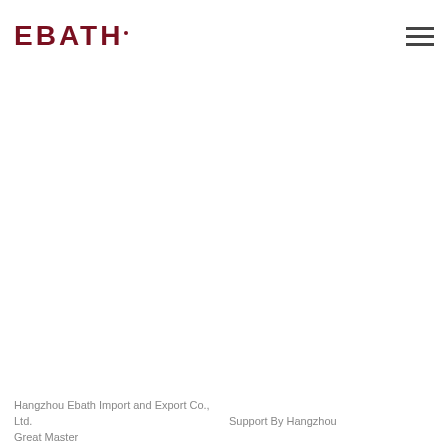[Figure (logo): EBATH logo in dark red/maroon bold text with a small superscript dot, top-left of page header]
[Figure (other): Hamburger menu icon (three horizontal bars) in dark gray, top-right of page header]
Hangzhou Ebath Import and Export Co., Ltd.
Great Master
Support By Hangzhou